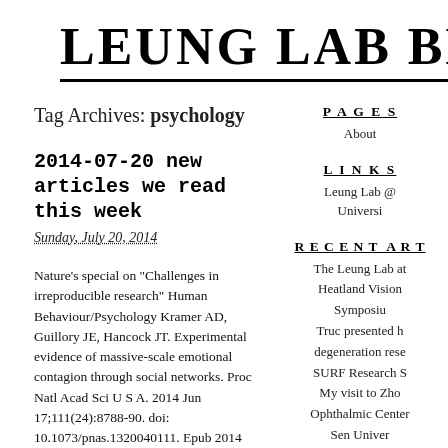LEUNG LAB BLO
Tag Archives: psychology
PAGES
About
2014-07-20 new articles we read this week
Sunday, July 20, 2014
LINKS
Leung Lab @ Universi
Nature's special on “Challenges in irreproducible research” Human Behaviour/Psychology Kramer AD, Guillory JE, Hancock JT. Experimental evidence of massive-scale emotional contagion through social networks. Proc Natl Acad Sci U S A. 2014 Jun 17;111(24):8788-90. doi: 10.1073/pnas.1320040111. Epub 2014 Jun 2. PubMed PMID: 24889601. This is THE controversial experiment by facebook. News coverage: Facebook emotion study […]
RECENT ART
The Leung Lab at Heatland Vision Symposiu Truc presented h degeneration rese SURF Research S My visit to Zh Ophthalmic Center Sen Univer